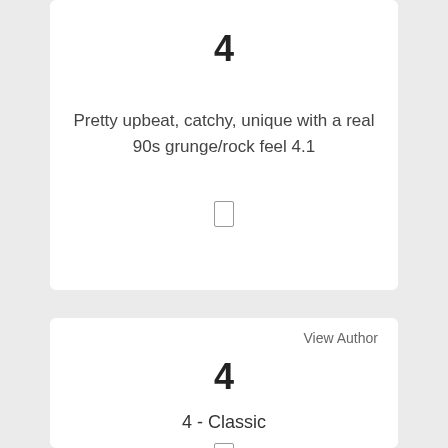4
Pretty upbeat, catchy, unique with a real 90s grunge/rock feel 4.1
View Author
4
4 - Classic